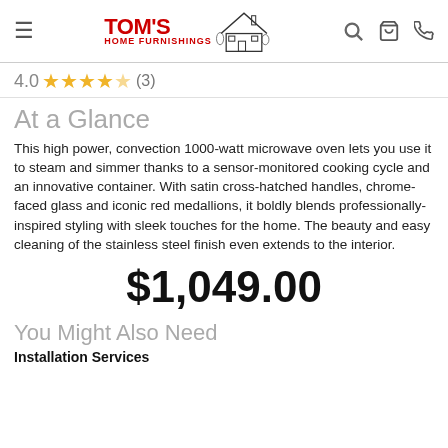Tom's Home Furnishings
4.0 ★★★★☆ (3)
At a Glance
This high power, convection 1000-watt microwave oven lets you use it to steam and simmer thanks to a sensor-monitored cooking cycle and an innovative container. With satin cross-hatched handles, chrome-faced glass and iconic red medallions, it boldly blends professionally-inspired styling with sleek touches for the home. The beauty and easy cleaning of the stainless steel finish even extends to the interior.
$1,049.00
You Might Also Need
Installation Services